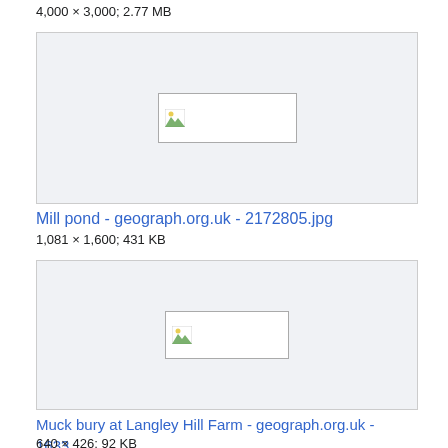4,000 × 3,000; 2.77 MB
[Figure (photo): Broken image placeholder for Mill pond - geograph.org.uk - 2172805.jpg]
Mill pond - geograph.org.uk - 2172805.jpg
1,081 × 1,600; 431 KB
[Figure (photo): Broken image placeholder for Muck bury at Langley Hill Farm - geograph.org.uk - 1633...]
Muck bury at Langley Hill Farm - geograph.org.uk - 1633...
640 × 426; 92 KB